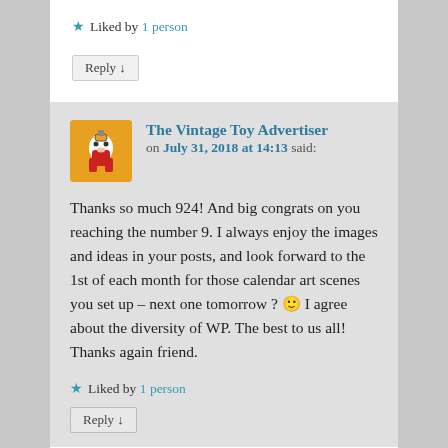★ Liked by 1 person
Reply ↓
The Vintage Toy Advertiser on July 31, 2018 at 14:13 said:
Thanks so much 924! And big congrats on you reaching the number 9. I always enjoy the images and ideas in your posts, and look forward to the 1st of each month for those calendar art scenes you set up – next one tomorrow ? 🙂 I agree about the diversity of WP. The best to us all! Thanks again friend.
★ Liked by 1 person
Reply ↓